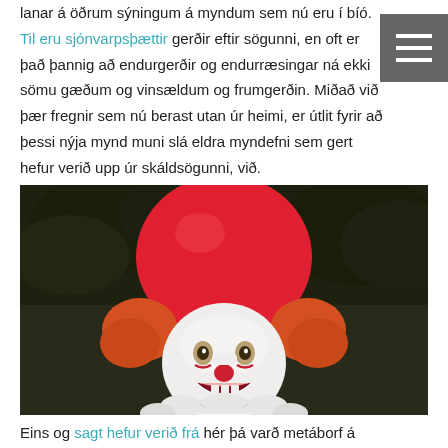lanar á öðrum sýningum á myndum sem nú eru í bíó.
Til eru sjónvarpsþættir gerðir eftir sögunni, en oft er það þannig að endurgerðir og endurræsingar ná ekki sömu gæðum og vinsældum og frumgerðin. Miðað við þær fregnir sem nú berast utan úr heimi, er útlit fyrir að þessi nýja mynd muni slá eldra myndefni sem gert hefur verið upp úr skáldsögunni, við.
[Figure (photo): Pennywise the clown from IT holding a red balloon, wearing white costume with ruffled collar, dark background with foliage]
Eins og sagt hefur verið frá hér þá varð metáborf á